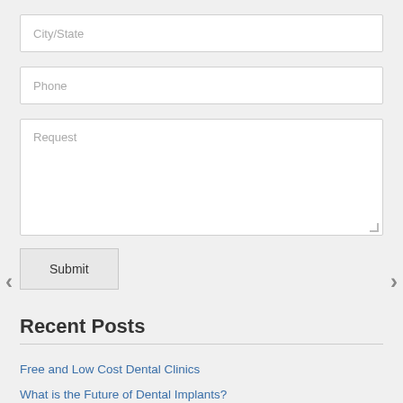City/State
Phone
Request
Submit
Recent Posts
Free and Low Cost Dental Clinics
What is the Future of Dental Implants?